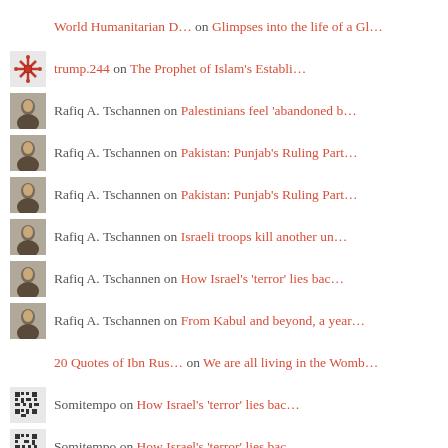World Humanitarian D… on Glimpses into the life of a Gl…
trump.244 on The Prophet of Islam's Establi…
Rafiq A. Tschannen on Palestinians feel 'abandoned b…
Rafiq A. Tschannen on Pakistan: Punjab's Ruling Part…
Rafiq A. Tschannen on Pakistan: Punjab's Ruling Part…
Rafiq A. Tschannen on Israeli troops kill another un…
Rafiq A. Tschannen on How Israel's 'terror' lies bac…
Rafiq A. Tschannen on From Kabul and beyond, a year…
20 Quotes of Ibn Rus… on We are all living in the Womb…
Somitempo on How Israel's 'terror' lies bac…
Somitempo on How Israel's 'terror' lies bac…
Somitempo on Israeli troops kill another un…